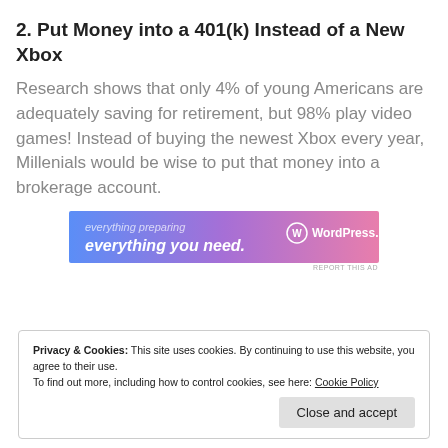2. Put Money into a 401(k) Instead of a New Xbox
Research shows that only 4% of young Americans are adequately saving for retirement, but 98% play video games! Instead of buying the newest Xbox every year, Millenials would be wise to put that money into a brokerage account.
[Figure (other): WordPress.com advertisement banner showing 'everything you need.' text with WordPress.com logo on a blue-to-pink gradient background]
REPORT THIS AD
Privacy & Cookies: This site uses cookies. By continuing to use this website, you agree to their use.
To find out more, including how to control cookies, see here: Cookie Policy